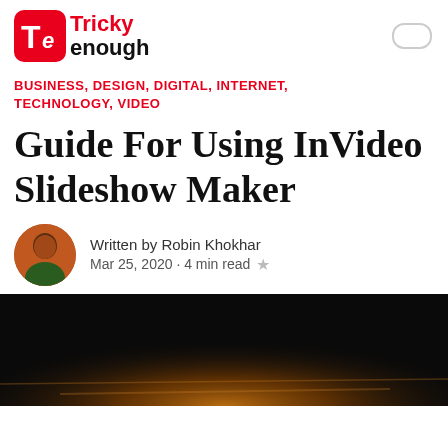[Figure (logo): Tricky Enough logo with red square TC icon and text]
BUSINESS, DESIGN, DIGITAL, INTERNET, TECHNOLOGY, VIDEO
Guide For Using InVideo Slideshow Maker
Written by Robin Khokhar
Mar 25, 2020 · 4 min read ★
[Figure (photo): Dark cinematic image with warm orange/gold light at the bottom, possibly a video title card]